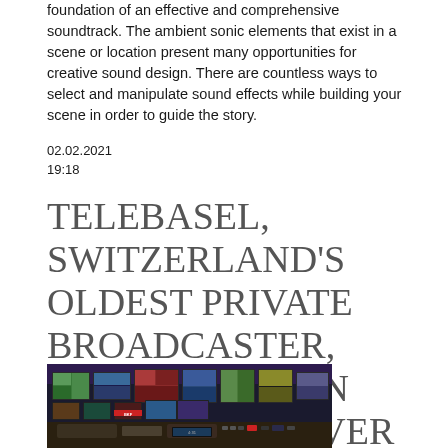foundation of an effective and comprehensive soundtrack. The ambient sonic elements that exist in a scene or location present many opportunities for creative sound design. There are countless ways to select and manipulate sound effects while building your scene in order to guide the story.
02.02.2021
19:18
TELEBASEL, SWITZERLAND'S OLDEST PRIVATE BROADCASTER, GETS A MODERN MEDIA MAKEOVER
[Figure (photo): A broadcast control room with multiple video monitors and screens showing various TV channels and content, with a control desk in the foreground.]